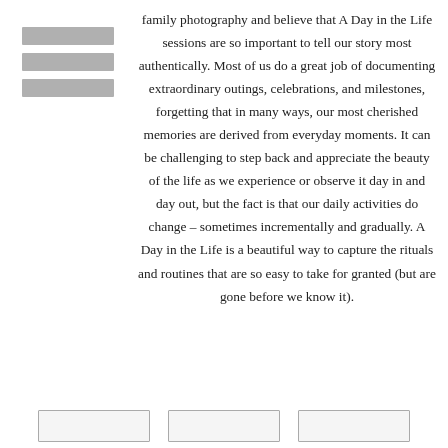[Figure (logo): A stacked horizontal bars logo/icon in gray, three bars of equal width]
family photography and believe that A Day in the Life sessions are so important to tell our story most authentically. Most of us do a great job of documenting extraordinary outings, celebrations, and milestones, forgetting that in many ways, our most cherished memories are derived from everyday moments. It can be challenging to step back and appreciate the beauty of the life as we experience or observe it day in and day out, but the fact is that our daily activities do change – sometimes incrementally and gradually. A Day in the Life is a beautiful way to capture the rituals and routines that are so easy to take for granted (but are gone before we know it).
[Figure (other): Three small rectangular boxes/thumbnails at the bottom of the page, side by side]